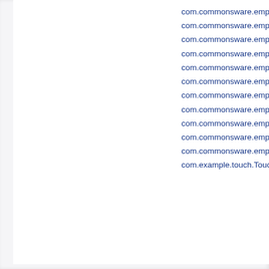com.commonsware.empub.B
com.commonsware.empub.I
com.commonsware.empub.I
com.commonsware.empub.M
com.commonsware.empub.N
com.commonsware.empub.P
com.commonsware.empub.S
com.commonsware.empub.S
com.commonsware.empub.S
com.commonsware.empub.S
com.commonsware.empub.V
com.example.touch.TouchIm